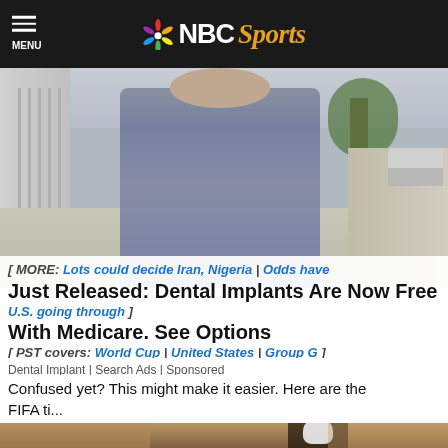NBC Sports — MENU
[Figure (photo): Woman in grey fitted t-shirt walking on a sidewalk near a fence and trees]
[ MORE: Lots could decide Iran, Nigeria | Odds have Just Released: Dental Implants Are Now Free With Medicare. See Options U.S. going through ] [ PST covers: World Cup | United States | Group G ]
Dental Implant | Search Ads | Sponsored
Confused yet? This might make it easier. Here are the FIFA ti...
[Figure (photo): Close-up of a black outdoor wall lantern with a white LED bulb against a textured beige/tan stucco wall]